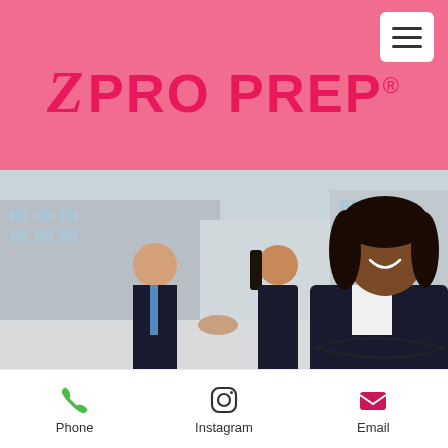[Figure (logo): Z Pro Prep logo with stylized italic Z and bold PRO PREP text with registered trademark symbol on pink background]
[Figure (photo): Three business professionals outdoors; a smiling Black woman in black blazer with arms crossed in foreground, two people shaking hands in background]
Phone   Instagram   Email